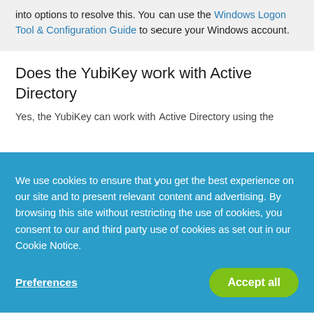into options to resolve this. You can use the Windows Logon Tool & Configuration Guide to secure your Windows account.
Does the YubiKey work with Active Directory
Yes, the YubiKey can work with Active Directory using the...
We use cookies to ensure that you get the best experience on our site and to present relevant content and advertising. By browsing this site without restricting the use of cookies, you consent to our and third party use of cookies as set out in our Cookie Notice.
Preferences
Accept all